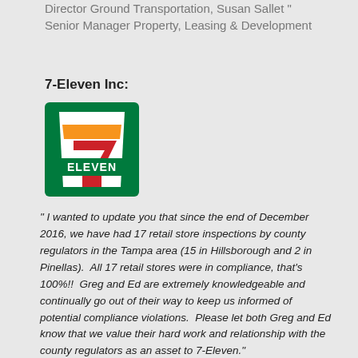Director Ground Transportation, Susan Sallet " Senior Manager Property, Leasing & Development
7-Eleven Inc:
[Figure (logo): 7-Eleven logo: green square background with white cup shape containing orange and red '7' and red square at bottom, with green text 'ELEVEN' across the middle]
" I wanted to update you that since the end of December 2016, we have had 17 retail store inspections by county regulators in the Tampa area (15 in Hillsborough and 2 in Pinellas).  All 17 retail stores were in compliance, that's 100%!!  Greg and Ed are extremely knowledgeable and continually go out of their way to keep us informed of potential compliance violations.  Please let both Greg and Ed know that we value their hard work and relationship with the county regulators as an asset to 7-Eleven."